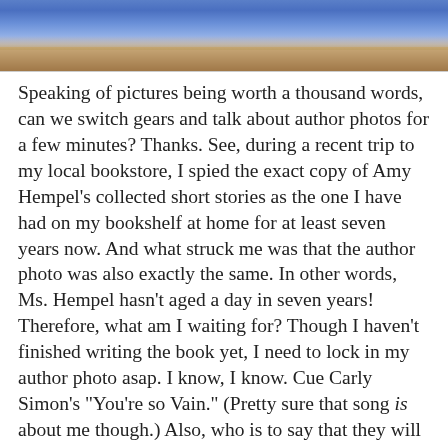[Figure (photo): Top portion of a photograph showing a blue ceramic bowl or cup on a wooden surface, cropped at the bottom of a document page section.]
Speaking of pictures being worth a thousand words, can we switch gears and talk about author photos for a few minutes? Thanks. See, during a recent trip to my local bookstore, I spied the exact copy of Amy Hempel's collected short stories as the one I have had on my bookshelf at home for at least seven years now. And what struck me was that the author photo was also exactly the same. In other words, Ms. Hempel hasn't aged a day in seven years! Therefore, what am I waiting for? Though I haven't finished writing the book yet, I need to lock in my author photo asap. I know, I know. Cue Carly Simon's "You're so Vain." (Pretty sure that song is about me though.) Also, who is to say that they will be selling copies of my book seven years from now? (But then again, the universe is sending me free blueberries, so...)
Point being, if to choose an author photo is to convey a thousand words about myself, what do I want those words to say? Well, I've studied the field and narrowed it down to six specific categories. Thoughts? Favorites?